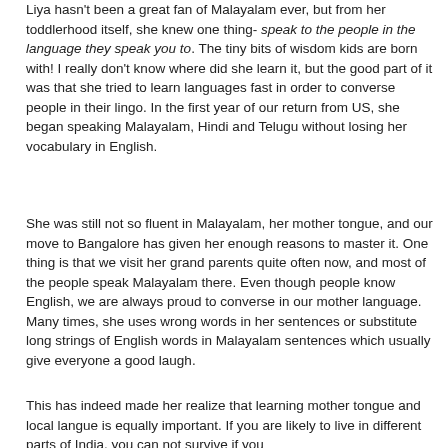Liya hasn't been a great fan of Malayalam ever, but from her toddlerhood itself, she knew one thing- speak to the people in the language they speak you to. The tiny bits of wisdom kids are born with! I really don't know where did she learn it, but the good part of it was that she tried to learn languages fast in order to converse people in their lingo. In the first year of our return from US, she began speaking Malayalam, Hindi and Telugu without losing her vocabulary in English.
She was still not so fluent in Malayalam, her mother tongue, and our move to Bangalore has given her enough reasons to master it. One thing is that we visit her grand parents quite often now, and most of the people speak Malayalam there. Even though people know English, we are always proud to converse in our mother language.  Many times, she uses wrong words in her sentences or substitute long strings of English words in Malayalam sentences which usually give everyone a good laugh.
This has indeed made her realize that learning mother tongue and local langue is equally important. If you are likely to live in different parts of India, you can not survive if you